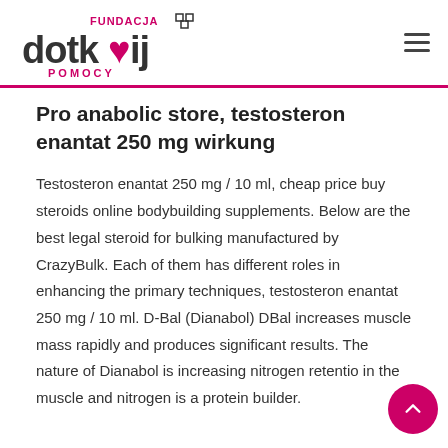Fundacja Dotknij Pomocy logo and navigation
Pro anabolic store, testosteron enantat 250 mg wirkung
Testosteron enantat 250 mg / 10 ml, cheap price buy steroids online bodybuilding supplements. Below are the best legal steroid for bulking manufactured by CrazyBulk. Each of them has different roles in enhancing the primary techniques, testosteron enantat 250 mg / 10 ml. D-Bal (Dianabol) DBal increases muscle mass rapidly and produces significant results. The nature of Dianabol is increasing nitrogen retention in the muscle and nitrogen is a protein builder.